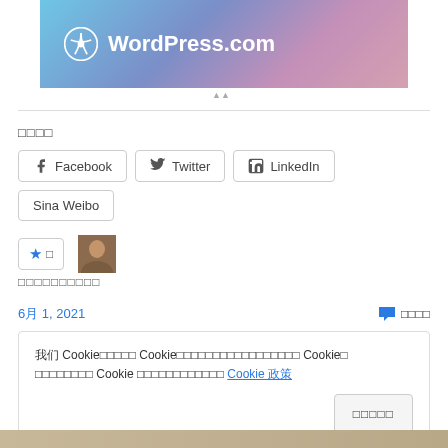[Figure (logo): WordPress.com banner with logo and gradient background (blue to pink)]
□□□□
Facebook  Twitter  LinkedIn  Sina Weibo
★ □  [avatar image]
□□□□□□□□□□
6月 1, 2021
□□□□
我们 Cookie□□□□□ Cookie□□□□□□□□□□□□□□□□□ Cookie□ □□□□□□□□ Cookie □□□□□□□□□□□□ Cookie 政策
□□□□□